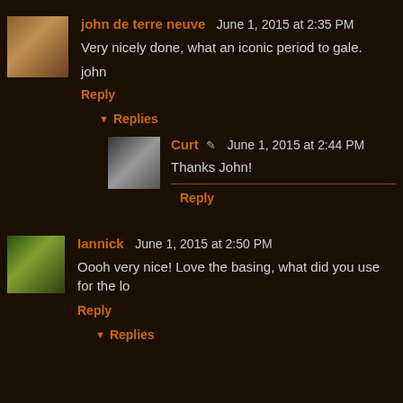john de terre neuve  June 1, 2015 at 2:35 PM
Very nicely done, what an iconic period to gale.
john
Reply
▼ Replies
Curt  ✎  June 1, 2015 at 2:44 PM
Thanks John!
Reply
Iannick  June 1, 2015 at 2:50 PM
Oooh very nice! Love the basing, what did you use for the lo
Reply
▼ Replies